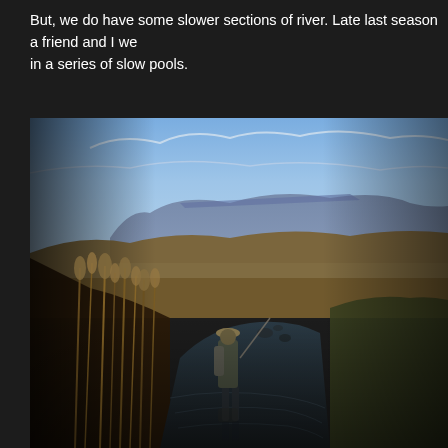But, we do have some slower sections of river. Late last season a friend and I we in a series of slow pools.
[Figure (photo): A fly fisherman standing in a slow-moving river, viewed from behind, wearing a hat and backpack. The river winds through golden grasslands and reeds with flat-topped mountains in the background under a partly cloudy sky.]